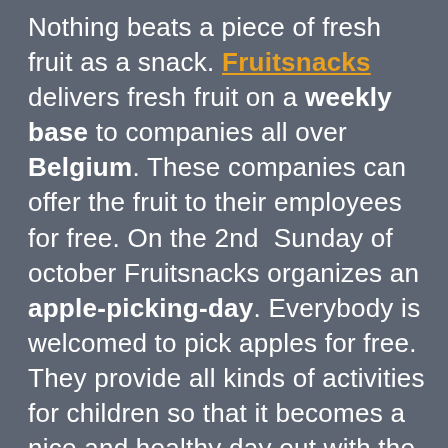Nothing beats a piece of fresh fruit as a snack. Fruitsnacks delivers fresh fruit on a weekly base to companies all over Belgium. These companies can offer the fruit to their employees for free. On the 2nd Sunday of october Fruitsnacks organizes an apple-picking-day. Everybody is welcomed to pick apples for free. They provide all kinds of activities for children so that it becomes a nice and healthy day out with the family in the region of Haspengouw. In collaboration with X-Treme, Fruitsnacks developed their own 3D apple shaped bouncy castle as an attraction for the younger (and the older?) amongst them.